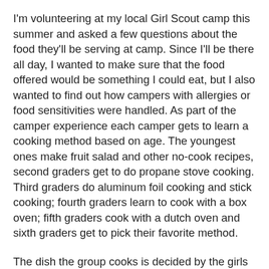I'm volunteering at my local Girl Scout camp this summer and asked a few questions about the food they'll be serving at camp. Since I'll be there all day, I wanted to make sure that the food offered would be something I could eat, but I also wanted to find out how campers with allergies or food sensitivities were handled. As part of the camper experience each camper gets to learn a cooking method based on age. The youngest ones make fruit salad and other no-cook recipes, second graders get to do propane stove cooking. Third graders do aluminum foil cooking and stick cooking; fourth graders learn to cook with a box oven; fifth graders cook with a dutch oven and sixth graders get to pick their favorite method.
The dish the group cooks is decided by the girls themselves based on their method. I asked what happened to girl with allergies if her group chose to cook something she couldn't eat. In the past, the girl had to help to make the dish she couldn't eat, then had to come back to the kitchen to get an alternative meal. That just didn't seem right to me. So I asked a few more questions and found that the camp